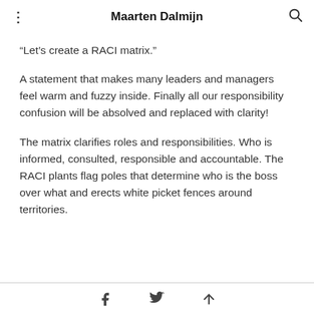Maarten Dalmijn
“Let’s create a RACI matrix.”
A statement that makes many leaders and managers feel warm and fuzzy inside. Finally all our responsibility confusion will be absolved and replaced with clarity!
The matrix clarifies roles and responsibilities. Who is informed, consulted, responsible and accountable. The RACI plants flag poles that determine who is the boss over what and erects white picket fences around territories.
Facebook share | Twitter share | Share